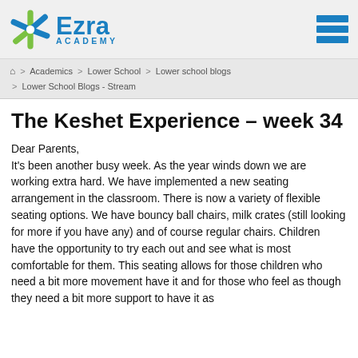[Figure (logo): Ezra Academy logo with star graphic in blue and green, bold blue 'Ezra' text and 'ACADEMY' subtitle]
Ezra ACADEMY
Home > Academics > Lower School > Lower school blogs > Lower School Blogs - Stream
The Keshet Experience – week 34
Dear Parents,
It's been another busy week. As the year winds down we are working extra hard. We have implemented a new seating arrangement in the classroom. There is now a variety of flexible seating options. We have bouncy ball chairs, milk crates (still looking for more if you have any) and of course regular chairs. Children have the opportunity to try each out and see what is most comfortable for them. This seating allows for those children who need a bit more movement have it and for those who feel as though they need a bit more support to have it as